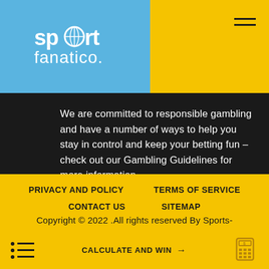[Figure (logo): Sport Fanatico logo in white text on blue background]
We are committed to responsible gambling and have a number of ways to help you stay in control and keep your betting fun – check out our Gambling Guidelines for more information.
PRIVACY AND POLICY
TERMS OF SERVICE
CONTACT US
SITEMAP
Copyright © 2022 .All rights reserved By Sports-
CALCULATE AND WIN →